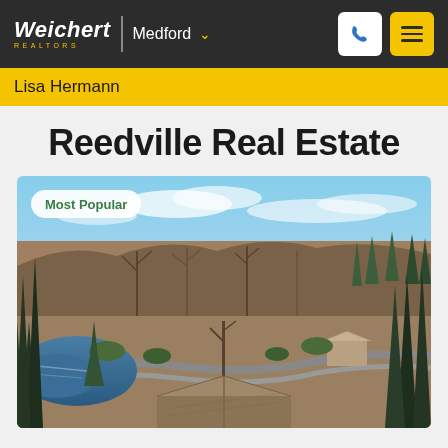Weichert | Medford
Lisa Hermann
Reedville Real Estate
[Figure (photo): Aerial view of a residential neighborhood in Reedville showing rooftops, trees, a lake in the lower left, wooded hills in the background, and a clear blue sky. A 'Most Popular' badge overlays the upper-left corner of the photo.]